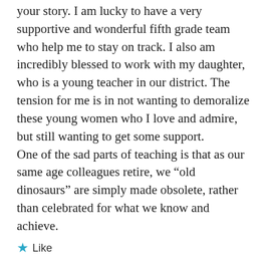your story. I am lucky to have a very supportive and wonderful fifth grade team who help me to stay on track. I also am incredibly blessed to work with my daughter, who is a young teacher in our district. The tension for me is in not wanting to demoralize these young women who I love and admire, but still wanting to get some support.
One of the sad parts of teaching is that as our same age colleagues retire, we “old dinosaurs” are simply made obsolete, rather than celebrated for what we know and achieve.
★ Like